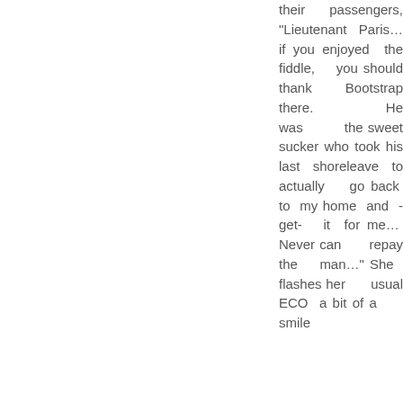their passengers, "Lieutenant Paris… if you enjoyed the fiddle, you should thank Bootstrap there. He was the sweet sucker who took his last shoreleave to actually go back to my home and - get- it for me… Never can repay the man..." She flashes her usual ECO a bit of a smile